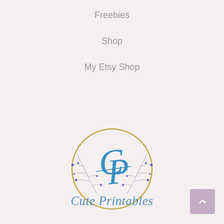Freebies
Shop
My Etsy Shop
[Figure (logo): Cute Printables logo: a gold circle with blue scripted initials CP overlapping, flanked by purple floral branches on either side]
Cute Printables